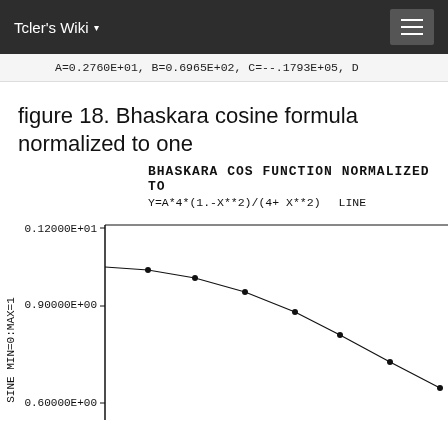Tcler's Wiki
A=0.2760E+01,  B=0.6965E+02,  C=--.1793E+05,  D
figure 18. Bhaskara cosine formula normalized to one
[Figure (continuous-plot): Plot of Bhaskara cosine function normalized to one. Y-axis labeled 'SINE MIN=0:MAX=1', X-axis not visible. Y=A*4*(1.-X**2)/(4+ X**2), LINE shown. Y-axis ticks: 0.12000E+01 at top, 0.90000E+00 in middle, 0.60000E+00 at bottom. Curve descends from upper left with scatter data points.]